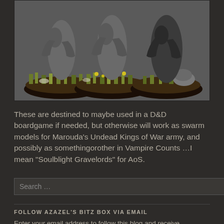[Figure (photo): Three painted miniature figures (undead/skeleton type) on round bases with grass and flower scenic basing, photographed against a dark grey background.]
These are destined to maybe used in a D&D boardgame if needed, but otherwise will work as swarm models for Marouda's Undead Kings of War army, and possibly as somethingorother in Vampire Counts …I mean "Soulblight Gravelords" for AoS.
Search …
FOLLOW AZAZEL'S BITZ BOX VIA EMAIL
Enter your email address to follow this blog and receive notifications of new